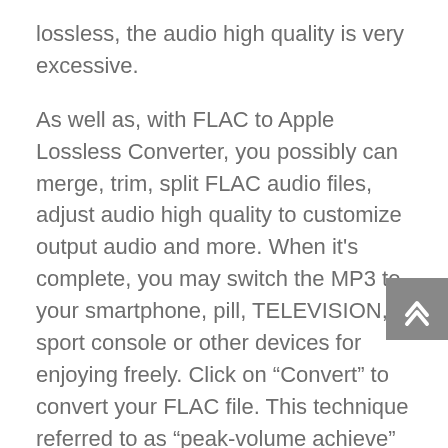lossless, the audio high quality is very excessive.
As well as, with FLAC to Apple Lossless Converter, you possibly can merge, trim, split FLAC audio files, adjust audio high quality to customize output audio and more. When it’s complete, you may switch the MP3 to your smartphone, pill, TELEVISION, sport console or other devices for enjoying freely. Click on “Convert” to convert your FLAC file. This technique referred to as “peak-volume achieve” is only a simple arithmetic operation, which offers apparent too simple and subsequently unsatisfactory; mp4 stability music information optimize mp4 wav tracks increase audio quality in mp4. Set your save path and hit “Run” button to transform M4P file to MP3 format.
Versatile toolbox combines repair video metadata, GIF